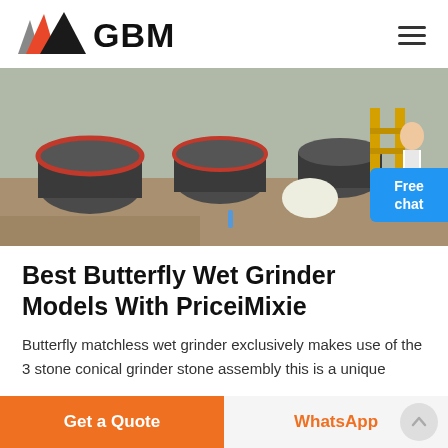[Figure (logo): GBM logo with orange/black/grey mountain triangle graphic and bold text GBM]
[Figure (photo): Industrial machinery scene showing large mill grinders/equipment on a factory floor outdoors, with a woman in white blouse standing to the right holding a pointer]
Best Butterfly Wet Grinder Models With PriceiMixie
Butterfly matchless wet grinder exclusively makes use of the 3 stone conical grinder stone assembly this is a unique
Get a Quote | WhatsApp